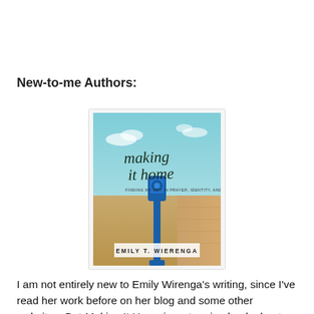New-to-me Authors:
[Figure (photo): Book cover of 'Making It Home' by Emily T. Wierenga. Cover shows a teal/blue sky with sandy landscape, features a blue parking meter-like object, and handwritten-style title text 'making it home' with subtitle and author name.]
I am not entirely new to Emily Wirenga's writing, since I've read her work before on her blog and some other websites. But Making It Home is a stunning book about feeling inadequate in the constant pull between loving and caring for